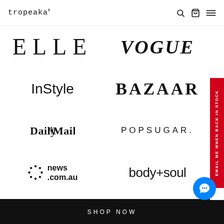tropeaka
[Figure (logo): ELLE magazine logo in serif font]
[Figure (logo): VOGUE magazine logo in bold italic serif font]
[Figure (logo): InStyle magazine logo in sans-serif font]
[Figure (logo): Harper's BAZAAR magazine logo in bold serif font]
[Figure (logo): Daily Mail newspaper logo in blackletter serif font]
[Figure (logo): POPSUGAR. logo in spaced uppercase sans-serif]
[Figure (logo): news.com.au logo with dotted circle icon]
[Figure (logo): body+soul logo in thin sans-serif font]
EMAIL ME WHEN BACK IN STOCK
SHOP NOW